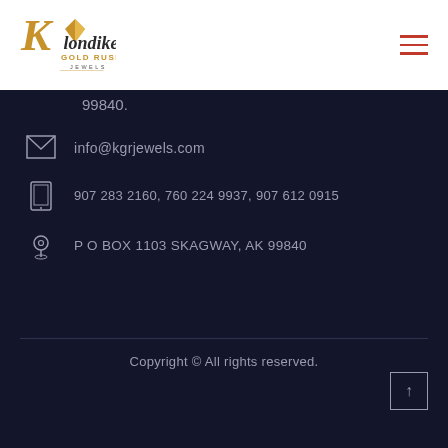[Figure (logo): Klondike Gold Rush Jewels logo — stylized K with a gold diamond/gem shape and cursive text]
[Figure (other): Hamburger menu icon — three horizontal red lines]
99840.
info@kgrjewels.com
907 283 2160, 760 224 9937, 907 612 0915
P O BOX 1103 SKAGWAY, AK 99840
Copyright © All rights reserved.